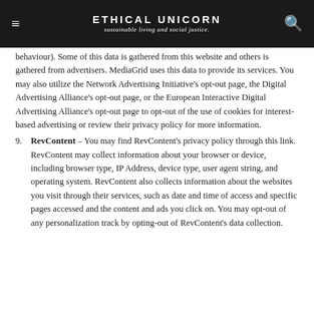ETHICAL UNICORN — sustainable living and social justice.
behaviour). Some of this data is gathered from this website and others is gathered from advertisers. MediaGrid uses this data to provide its services. You may also utilize the Network Advertising Initiative's opt-out page, the Digital Advertising Alliance's opt-out page, or the European Interactive Digital Advertising Alliance's opt-out page to opt-out of the use of cookies for interest-based advertising or review their privacy policy for more information.
9. RevContent – You may find RevContent's privacy policy through this link. RevContent may collect information about your browser or device, including browser type, IP Address, device type, user agent string, and operating system. RevContent also collects information about the websites you visit through their services, such as date and time of access and specific pages accessed and the content and ads you click on. You may opt-out of any personalization track by opting-out of RevContent's data collection.